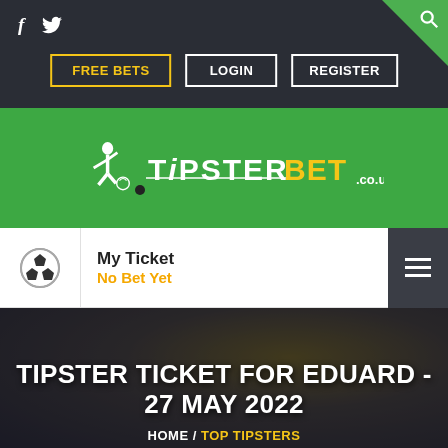f  (twitter icon)  (search icon)  FREE BETS  LOGIN  REGISTER
[Figure (logo): TipsterBet.co.uk logo on green banner background with footballer silhouette]
My Ticket
No Bet Yet
TIPSTER TICKET FOR EDUARD - 27 MAY 2022
HOME / TOP TIPSTERS